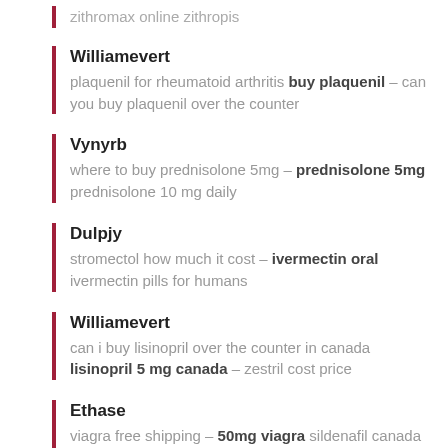zithromax online zithropis
Williamevert
plaquenil for rheumatoid arthritis buy plaquenil – can you buy plaquenil over the counter
Vynyrb
where to buy prednisolone 5mg – prednisolone 5mg prednisolone 10 mg daily
Dulpjy
stromectol how much it cost – ivermectin oral ivermectin pills for humans
Williamevert
can i buy lisinopril over the counter in canada lisinopril 5 mg canada – zestril cost price
Ethase
viagra free shipping – 50mg viagra sildenafil canada over the counter
Oxysoe